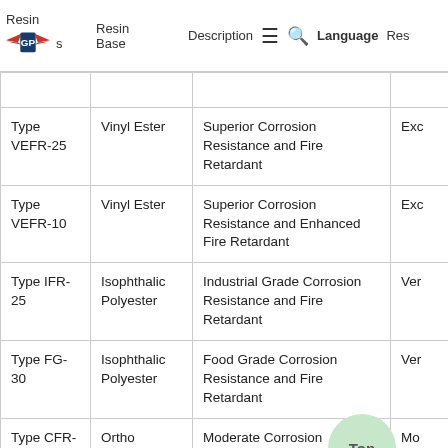Resins | Resin Base | Description | Language | Co Res
| Resin | Resin Base | Description | Co Res |
| --- | --- | --- | --- |
| Type VEFR-25 | Vinyl Ester | Superior Corrosion Resistance and Fire Retardant | Exc |
| Type VEFR-10 | Vinyl Ester | Superior Corrosion Resistance and Enhanced Fire Retardant | Exc |
| Type IFR-25 | Isophthalic Polyester | Industrial Grade Corrosion Resistance and Fire Retardant | Ver |
| Type FG-30 | Isophthalic Polyester | Food Grade Corrosion Resistance and Fire Retardant | Ver |
| Type CFR-25 | Ortho | Moderate Corrosion Resistance and Fire Retarda... | Mo |
| Type MP-5 | Phenolic resin | Low Smoke and Superior Fi... Resistance | er |